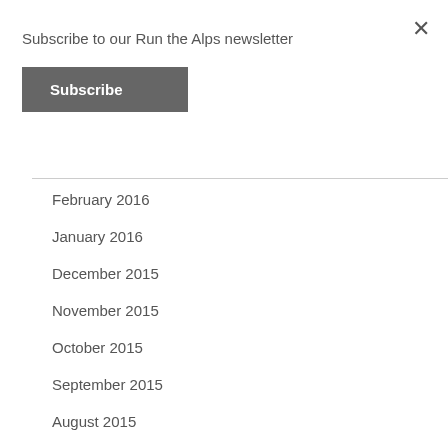Subscribe to our Run the Alps newsletter
Subscribe
February 2016
January 2016
December 2015
November 2015
October 2015
September 2015
August 2015
July 2015
June 2015
May 2015